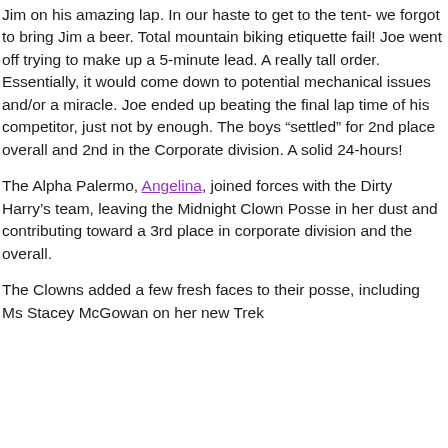Jim on his amazing lap. In our haste to get to the tent- we forgot to bring Jim a beer. Total mountain biking etiquette fail! Joe went off trying to make up a 5-minute lead. A really tall order. Essentially, it would come down to potential mechanical issues and/or a miracle. Joe ended up beating the final lap time of his competitor, just not by enough. The boys “settled” for 2nd place overall and 2nd in the Corporate division. A solid 24-hours!
The Alpha Palermo, Angelina, joined forces with the Dirty Harry’s team, leaving the Midnight Clown Posse in her dust and contributing toward a 3rd place in corporate division and the overall.
The Clowns added a few fresh faces to their posse, including Ms Stacey McGowan on her new Trek